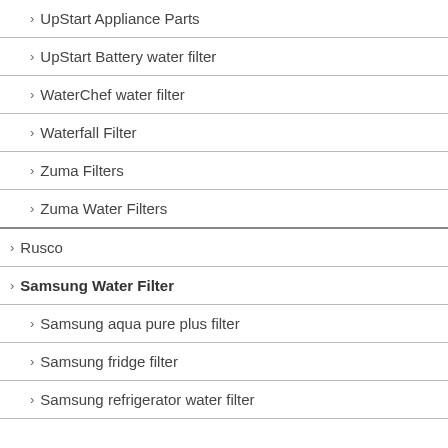UpStart Appliance Parts
UpStart Battery water filter
WaterChef water filter
Waterfall Filter
Zuma Filters
Zuma Water Filters
Rusco
Samsung Water Filter
Samsung aqua pure plus filter
Samsung fridge filter
Samsung refrigerator water filter